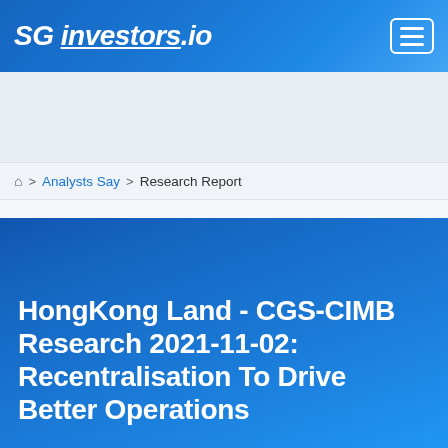[Figure (logo): SG investors.io website logo with menu button on blue gradient header bar]
⌂ > Analysts Say > Research Report
HongKong Land - CGS-CIMB Research 2021-11-02: Recentralisation To Drive Better Operations